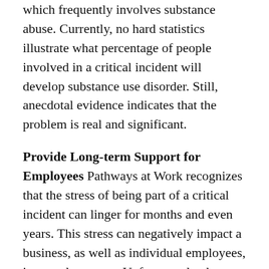which frequently involves substance abuse. Currently, no hard statistics illustrate what percentage of people involved in a critical incident will develop substance use disorder. Still, anecdotal evidence indicates that the problem is real and significant.
Provide Long-term Support for Employees Pathways at Work recognizes that the stress of being part of a critical incident can linger for months and even years. This stress can negatively impact a business, as well as individual employees, in countless ways. Unfortunately, there are not always sufficient resources to help a company and its employees rebuild long-term health after a trauma.